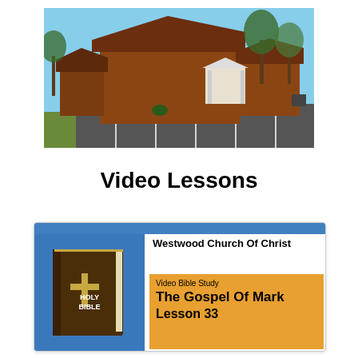[Figure (photo): Exterior photo of a brick church building with a dark red metal roof, parking lot in front with white parking spaces, trees in background, blue sky.]
Video Lessons
[Figure (screenshot): A video lesson card for Westwood Church Of Christ showing a Holy Bible image on a blue background on the left, and on the right a header 'Westwood Church Of Christ' and an orange box with text 'Video Bible Study', 'The Gospel Of Mark', 'Lesson 33'.]